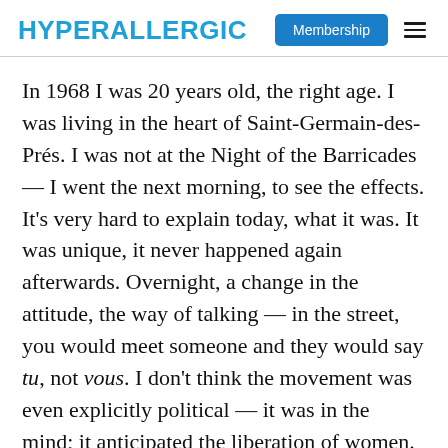HYPERALLERGIC | Membership
In 1968 I was 20 years old, the right age. I was living in the heart of Saint-Germain-des-Prés. I was not at the Night of the Barricades — I went the next morning, to see the effects. It's very hard to explain today, what it was. It was unique, it never happened again afterwards. Overnight, a change in the attitude, the way of talking — in the street, you would meet someone and they would say tu, not vous. I don't think the movement was even explicitly political — it was in the mind; it anticipated the liberation of women. And for me, it's never stopped.